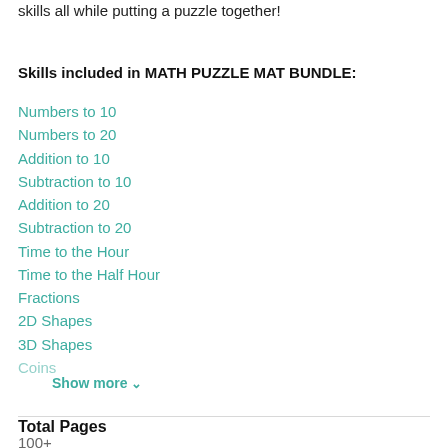skills all while putting a puzzle together!
Skills included in MATH PUZZLE MAT BUNDLE:
Numbers to 10
Numbers to 20
Addition to 10
Subtraction to 10
Addition to 20
Subtraction to 20
Time to the Hour
Time to the Half Hour
Fractions
2D Shapes
3D Shapes
Coins
Show more ∨
Total Pages
100+